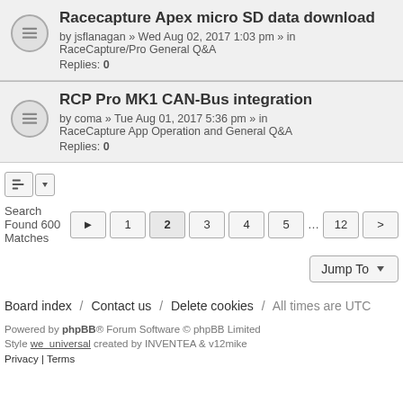Racecapture Apex micro SD data download — by jsflanagan » Wed Aug 02, 2017 1:03 pm » in RaceCapture/Pro General Q&A — Replies: 0
RCP Pro MK1 CAN-Bus integration — by coma » Tue Aug 01, 2017 5:36 pm » in RaceCapture App Operation and General Q&A — Replies: 0
Search Found 600 Matches  1 2 3 4 5 ... 12 >
Jump To
Board index / Contact us / Delete cookies / All times are UTC
Powered by phpBB® Forum Software © phpBB Limited
Style we_universal created by INVENTEA & v12mike
Privacy | Terms